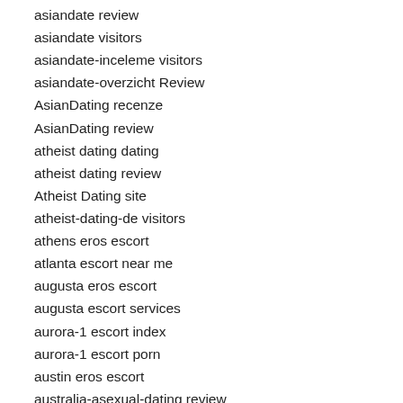asiandate review
asiandate visitors
asiandate-inceleme visitors
asiandate-overzicht Review
AsianDating recenze
AsianDating review
atheist dating dating
atheist dating review
Atheist Dating site
atheist-dating-de visitors
athens eros escort
atlanta escort near me
augusta eros escort
augusta escort services
aurora-1 escort index
aurora-1 escort porn
austin eros escort
australia-asexual-dating review